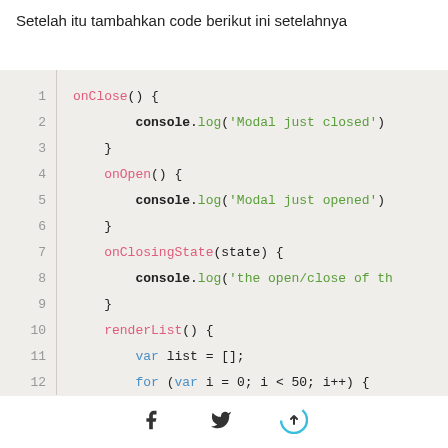Setelah itu tambahkan code berikut ini setelahnya
[Figure (screenshot): Code editor screenshot showing JavaScript methods: onClose, onOpen, onClosingState, renderList with line numbers 1-14 on a beige background]
Facebook share icon | Twitter share icon | Share/upload icon